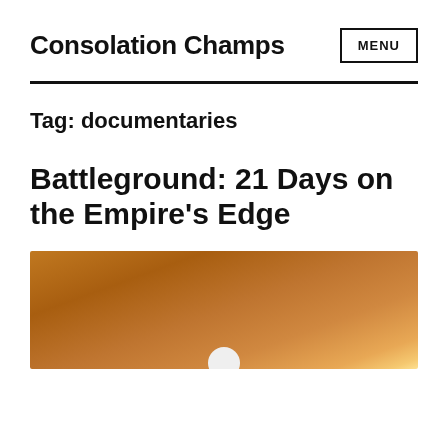Consolation Champs
MENU
Tag: documentaries
Battleground: 21 Days on the Empire’s Edge
[Figure (photo): Sunset or sunrise photo with warm orange/brown gradient sky and a white circular sun near the horizon]